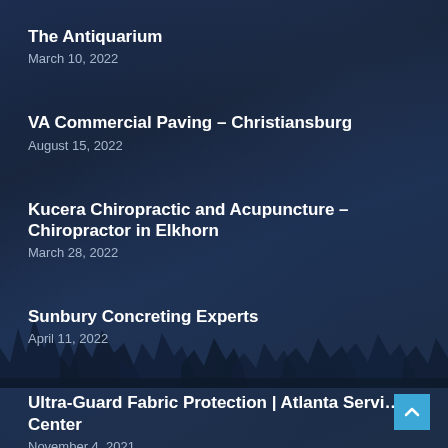The Antiquarium
March 10, 2022
VA Commercial Paving – Christiansburg
August 15, 2022
Kucera Chiropractic and Acupuncture – Chiropractor in Elkhorn
March 28, 2022
Sunbury Concreting Experts
April 11, 2022
Ultra-Guard Fabric Protection | Atlanta Service Center
November 4, 2021